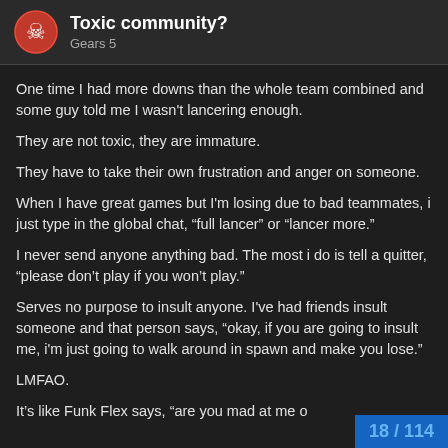Toxic community? | Gears 5
One time I had more downs than the whole team combined and some guy told me I wasn't lancering enough.
They are not toxic, they are immature.
They have to take their own frustration and anger on someone.
When I have great games but I'm losing due to bad teammates, i just type in the global chat, “full lancer” or “lancer more.”
I never send anyone anything bad. The most i do is tell a quitter, “please don’t play if you won’t play.”
Serves no purpose to insult anyone. I've had friends insult someone and that person says, “okay, if you are going to insult me, i'm just going to walk around in spawn and make you lose.”
LMFAO.
It’s like Funk Flex says, “are you mad at me o…”
18 / 114